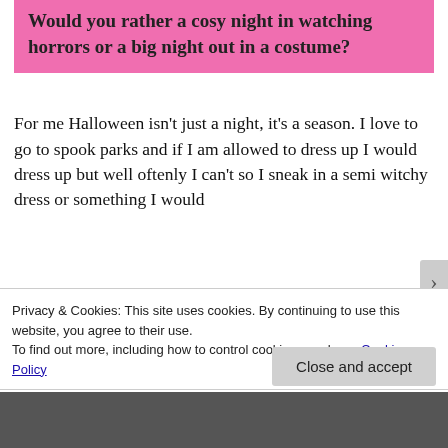Would you rather a cosy night in watching horrors or a big night out in a costume?
For me Halloween isn't just a night, it's a season. I love to go to spook parks and if I am allowed to dress up I would dress up but well oftenly I can't so I sneak in a semi witchy dress or something I would
Privacy & Cookies: This site uses cookies. By continuing to use this website, you agree to their use.
To find out more, including how to control cookies, see here: Cookie Policy